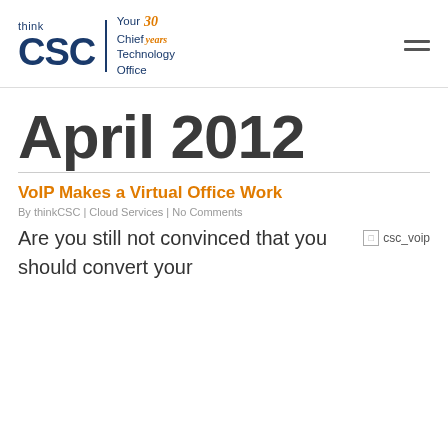[Figure (logo): thinkCSC logo with 'Your Chief Technology Office' tagline and '30 years' badge]
April 2012
VoIP Makes a Virtual Office Work
By thinkCSC | Cloud Services | No Comments
Are you still not convinced that you should convert your
[Figure (photo): csc_voip image (broken/placeholder)]